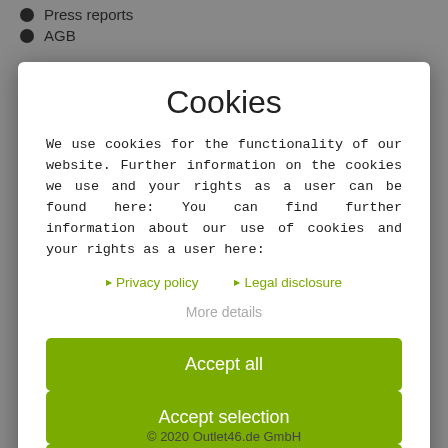Press reports
AGB
Cookies
We use cookies for the functionality of our website. Further information on the cookies we use and your rights as a user can be found here: You can find further information about our use of cookies and your rights as a user here:
▶ Privacy policy   ▶ Legal disclosure
More details
Accept all
Accept selection
Reject all
© 2020 Outlet46.de GmbH